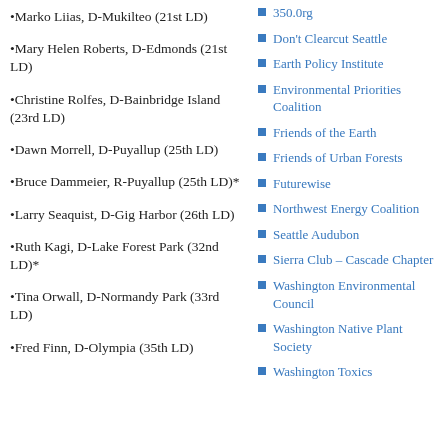•Marko Liias, D-Mukilteo (21st LD)
•Mary Helen Roberts, D-Edmonds (21st LD)
•Christine Rolfes, D-Bainbridge Island (23rd LD)
•Dawn Morrell, D-Puyallup (25th LD)
•Bruce Dammeier, R-Puyallup (25th LD)*
•Larry Seaquist, D-Gig Harbor (26th LD)
•Ruth Kagi, D-Lake Forest Park (32nd LD)*
•Tina Orwall, D-Normandy Park (33rd LD)
•Fred Finn, D-Olympia (35th LD)
350.0rg
Don't Clearcut Seattle
Earth Policy Institute
Environmental Priorities Coalition
Friends of the Earth
Friends of Urban Forests
Futurewise
Northwest Energy Coalition
Seattle Audubon
Sierra Club – Cascade Chapter
Washington Environmental Council
Washington Native Plant Society
Washington Toxics